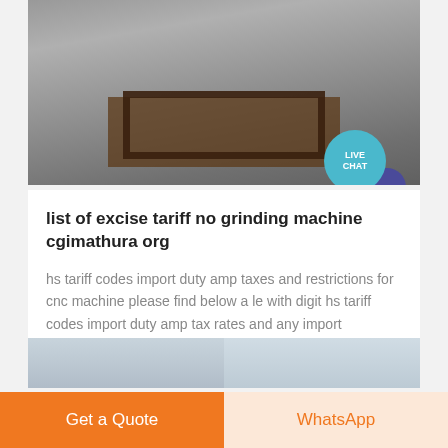[Figure (photo): Top portion of a photo showing what appears to be a metal grinding or milling machine box/tray from above, with a live chat bubble overlay in the bottom-right corner]
list of excise tariff no grinding machine cgimathura org
hs tariff codes import duty amp taxes and restrictions for cnc machine please find below a le with digit hs tariff codes import duty amp tax rates and any import
[Figure (photo): Bottom strip of a photo showing industrial machinery against a blue sky]
Get a Quote
WhatsApp